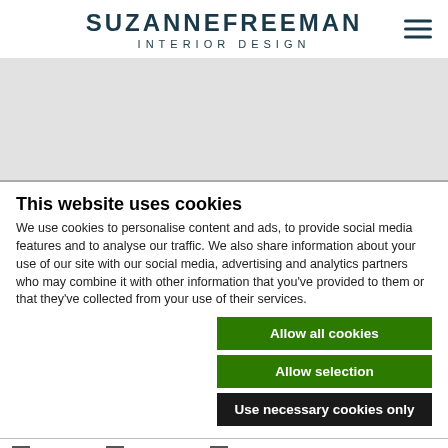SUZANNE FREEMAN INTERIOR DESIGN
[Figure (other): Gray hero/banner area below header, separated by a horizontal line]
This website uses cookies
We use cookies to personalise content and ads, to provide social media features and to analyse our traffic. We also share information about your use of our site with our social media, advertising and analytics partners who may combine it with other information that you've provided to them or that they've collected from your use of their services.
Allow all cookies
Allow selection
Use necessary cookies only
Necessary   Preferences   Statistics   Marketing   Show details